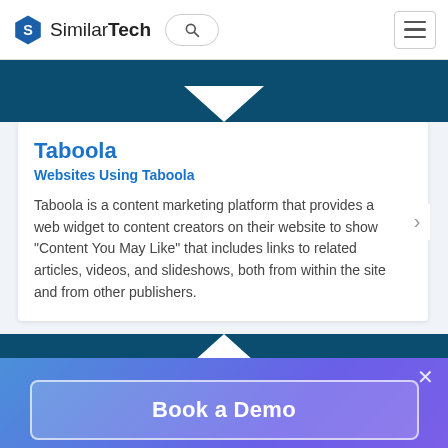SimilarTech
Taboola
Websites Using Taboola
Taboola is a content marketing platform that provides a web widget to content creators on their website to show "Content You May Like" that includes links to related articles, videos, and slideshows, both from within the site and from other publishers.
Book a Demo